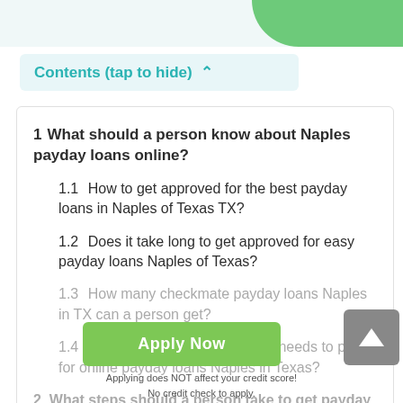Contents (tap to hide) ^
1  What should a person know about Naples payday loans online?
1.1  How to get approved for the best payday loans in Naples of Texas TX?
1.2  Does it take long to get approved for easy payday loans Naples of Texas?
1.3  How many checkmate payday loans Naples in TX can a person get?
1.4  What additional fees a loaner needs to pay for online payday loans Naples in Texas?
2  What steps should a person take to get payday
Apply Now
Applying does NOT affect your credit score! No credit check to apply.